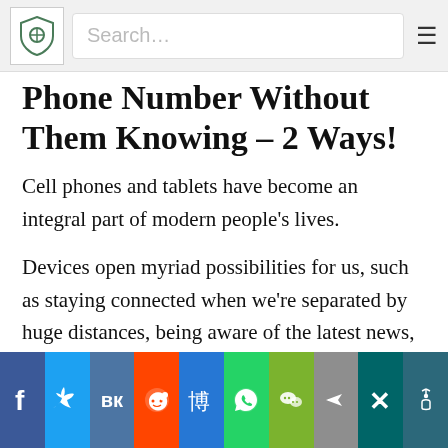Search…
Phone Number Without Them Knowing – 2 Ways!
Cell phones and tablets have become an integral part of modern people's lives.
Devices open myriad possibilities for us, such as staying connected when we're separated by huge distances, being aware of the latest news, and diving into details about the lives of people we follow on social media.
Social share bar: Facebook, Twitter, VK, Reddit, Baidu, WhatsApp, WeChat, Share, Xing, More